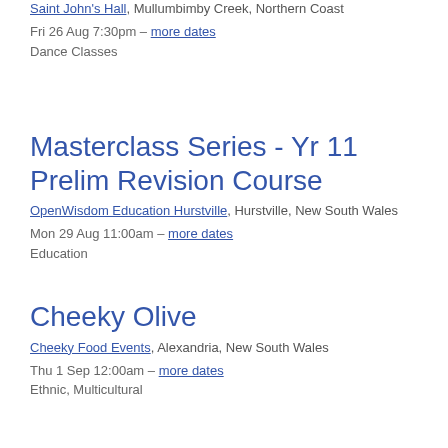Saint John's Hall, Mullumbimby Creek, Northern Coast
Fri 26 Aug 7:30pm – more dates
Dance Classes
Masterclass Series - Yr 11 Prelim Revision Course
OpenWisdom Education Hurstville, Hurstville, New South Wales
Mon 29 Aug 11:00am – more dates
Education
Cheeky Olive
Cheeky Food Events, Alexandria, New South Wales
Thu 1 Sep 12:00am – more dates
Ethnic, Multicultural